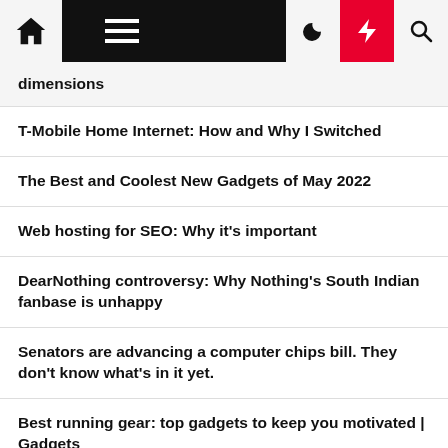Navigation bar with home, menu, moon, bolt, and search icons
dimensions
T-Mobile Home Internet: How and Why I Switched
The Best and Coolest New Gadgets of May 2022
Web hosting for SEO: Why it's important
DearNothing controversy: Why Nothing's South Indian fanbase is unhappy
Senators are advancing a computer chips bill. They don't know what's in it yet.
Best running gear: top gadgets to keep you motivated | Gadgets